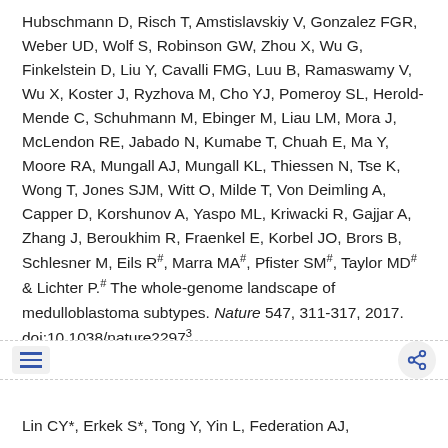Hubschmann D, Risch T, Amstislavskiy V, Gonzalez FGR, Weber UD, Wolf S, Robinson GW, Zhou X, Wu G, Finkelstein D, Liu Y, Cavalli FMG, Luu B, Ramaswamy V, Wu X, Koster J, Ryzhova M, Cho YJ, Pomeroy SL, Herold-Mende C, Schuhmann M, Ebinger M, Liau LM, Mora J, McLendon RE, Jabado N, Kumabe T, Chuah E, Ma Y, Moore RA, Mungall AJ, Mungall KL, Thiessen N, Tse K, Wong T, Jones SJM, Witt O, Milde T, Von Deimling A, Capper D, Korshunov A, Yaspo ML, Kriwacki R, Gajjar A, Zhang J, Beroukhim R, Fraenkel E, Korbel JO, Brors B, Schlesner M, Eils R#, Marra MA#, Pfister SM#, Taylor MD# & Lichter P.# The whole-genome landscape of medulloblastoma subtypes. Nature 547, 311-317, 2017. doi:10.1038/nature2297³
Lin CY*, Erkek S*, Tong Y, Yin L, Federation AJ,